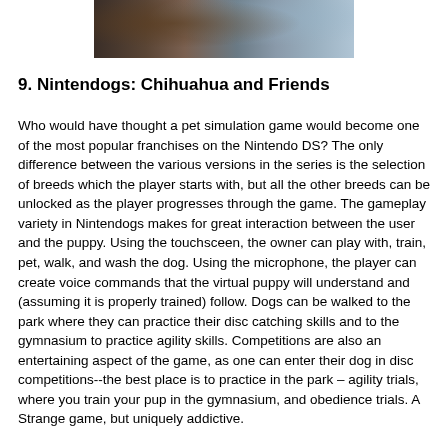[Figure (photo): Partial photograph showing what appears to be a dog or pet-related image, cropped at the top of the page with dark and light sections]
9. Nintendogs: Chihuahua and Friends
Who would have thought a pet simulation game would become one of the most popular franchises on the Nintendo DS? The only difference between the various versions in the series is the selection of breeds which the player starts with, but all the other breeds can be unlocked as the player progresses through the game. The gameplay variety in Nintendogs makes for great interaction between the user and the puppy. Using the touchsceen, the owner can play with, train, pet, walk, and wash the dog. Using the microphone, the player can create voice commands that the virtual puppy will understand and (assuming it is properly trained) follow. Dogs can be walked to the park where they can practice their disc catching skills and to the gymnasium to practice agility skills. Competitions are also an entertaining aspect of the game, as one can enter their dog in disc competitions--the best place is to practice in the park – agility trials, where you train your pup in the gymnasium, and obedience trials. A Strange game, but uniquely addictive.